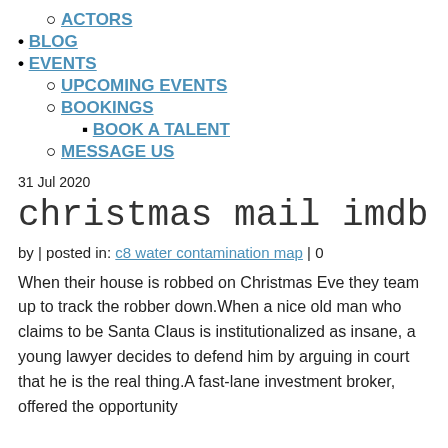ACTORS
BLOG
EVENTS
UPCOMING EVENTS
BOOKINGS
BOOK A TALENT
MESSAGE US
31 Jul 2020
christmas mail imdb
by | posted in: c8 water contamination map | 0
When their house is robbed on Christmas Eve they team up to track the robber down.When a nice old man who claims to be Santa Claus is institutionalized as insane, a young lawyer decides to defend him by arguing in court that he is the real thing.A fast-lane investment broker, offered the opportunity